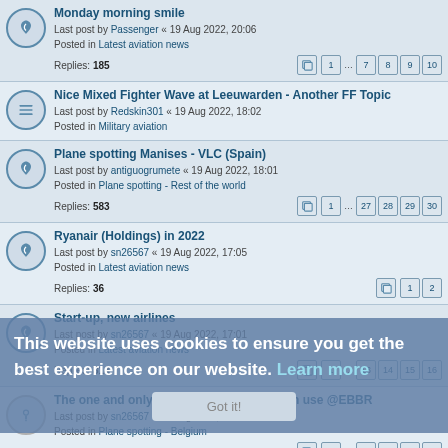Monday morning smile - Last post by Passenger « 19 Aug 2022, 20:06 - Posted in Latest aviation news - Replies: 185
Nice Mixed Fighter Wave at Leeuwarden - Another FF Topic - Last post by Redskin301 « 19 Aug 2022, 18:02 - Posted in Military aviation
Plane spotting Manises - VLC (Spain) - Last post by antiguogrumete « 19 Aug 2022, 18:01 - Posted in Plane spotting - Rest of the world - Replies: 583
Ryanair (Holdings) in 2022 - Last post by sn26567 « 19 Aug 2022, 17:05 - Posted in Latest aviation news - Replies: 36
Start-up, new airlines - Last post by sn26567 « 19 Aug 2022, 17:01 - Posted in Latest aviation news - Replies: 314
The one and only topic on which runway in use @EBBR - Last post by sn26567 « 19 Aug 2022, 12:16 - Posted in Plane spotting - Belgium - Replies: 634
South African Airways emerging from "Business Rescue" - Last post by sn26567 « 19 Aug 2022, 12:08 - Posted in Latest aviation news - Replies: 133
This website uses cookies to ensure you get the best experience on our website. Learn more
Got it!